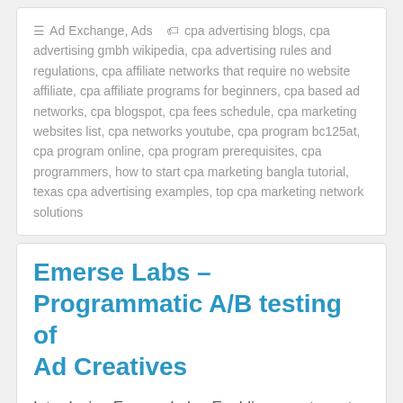Ad Exchange, Ads   cpa advertising blogs, cpa advertising gmbh wikipedia, cpa advertising rules and regulations, cpa affiliate networks that require no website affiliate, cpa affiliate programs for beginners, cpa based ad networks, cpa blogspot, cpa fees schedule, cpa marketing websites list, cpa networks youtube, cpa program bc125at, cpa program online, cpa program prerequisites, cpa programmers, how to start cpa marketing bangla tutorial, texas cpa advertising examples, top cpa marketing network solutions
Emerse Labs – Programmatic A/B testing of Ad Creatives
Introducing Emerse Labs. Enabling your team to